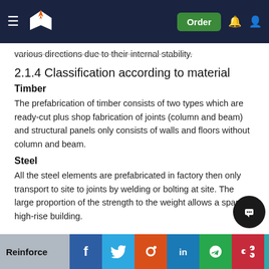[Navigation bar with logo, Order button, bell and user icons]
various directions due to their internal stability.
2.1.4 Classification according to material
Timber
The prefabrication of timber consists of two types which are ready-cut plus shop fabrication of joints (column and beam) and structural panels only consists of walls and floors without column and beam.
Steel
All the steel elements are prefabricated in factory then only transport to site to joints by welding or bolting at site. The large proportion of the strength to the weight allows a span or high-rise building.
Reinforce
[Social share bar: Facebook, Twitter, Reddit, LinkedIn, WhatsApp, Mendeley, ResearchGate]